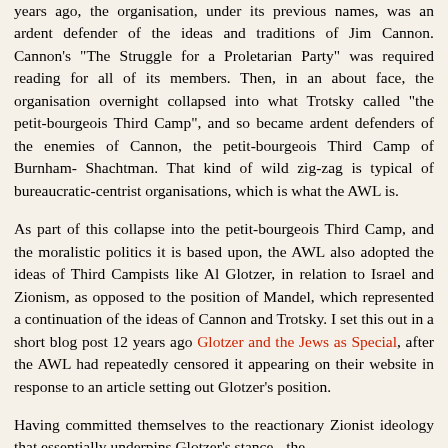years ago, the organisation, under its previous names, was an ardent defender of the ideas and traditions of Jim Cannon. Cannon's "The Struggle for a Proletarian Party" was required reading for all of its members. Then, in an about face, the organisation overnight collapsed into what Trotsky called "the petit-bourgeois Third Camp", and so became ardent defenders of the enemies of Cannon, the petit-bourgeois Third Camp of Burnham- Shachtman. That kind of wild zig-zag is typical of bureaucratic-centrist organisations, which is what the AWL is.
As part of this collapse into the petit-bourgeois Third Camp, and the moralistic politics it is based upon, the AWL also adopted the ideas of Third Campists like Al Glotzer, in relation to Israel and Zionism, as opposed to the position of Mandel, which represented a continuation of the ideas of Cannon and Trotsky. I set this out in a short blog post 12 years ago Glotzer and the Jews as Special, after the AWL had repeatedly censored it appearing on their website in response to an article setting out Glotzer's position.
Having committed themselves to the reactionary Zionist ideology that essentially underpins Glotzer's stance - the